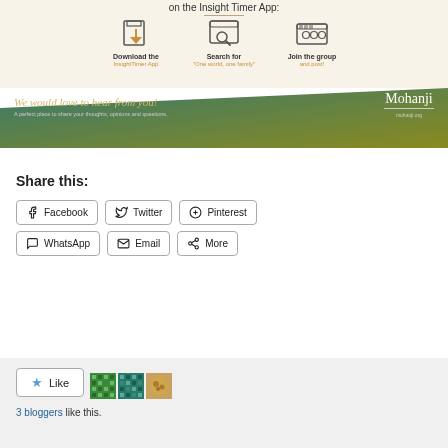[Figure (infographic): Insight Timer App promotional banner with icons for Download, Search, and Join, with Mohanji signature and 'We would love to hear from you!' text]
Share this:
Facebook  Twitter  Pinterest  WhatsApp  Email  More
Like  3 bloggers like this.